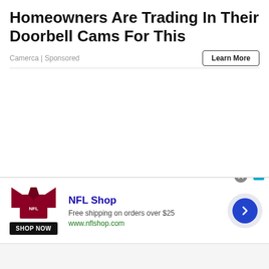Homeowners Are Trading In Their Doorbell Cams For This
Camerca | Sponsored
[Figure (screenshot): White empty content area below a horizontal divider line]
[Figure (infographic): NFL Shop advertisement banner with dark red shirt image, SHOP NOW button, NFL Shop text, Free shipping on orders over $25, www.nflshop.com, and a blue arrow circle button on the right. Has a close X button and ad flag icon at top.]